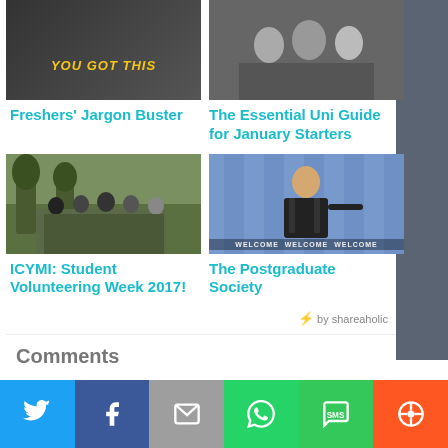[Figure (photo): Article thumbnail for Freshers' Jargon Buster - text graphic]
[Figure (photo): Article thumbnail for The Essential Uni Guide for January Starters - group photo]
Freshers' Jargon Buster
The Essential Uni Guide for January Starters
[Figure (photo): Article thumbnail for ICYMI: Student Volunteering Week 2017 - group of students outdoors]
[Figure (photo): Article thumbnail for The Postgraduate Society - man on stage with Welcome text]
ICYMI: Student Volunteering Week 2017!
The Postgraduate Society
⚡ by shareaholic
Comments